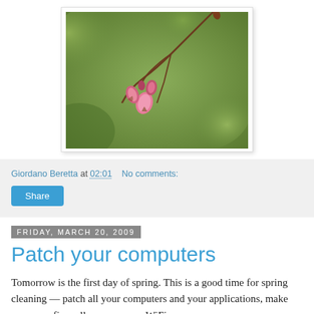[Figure (photo): Close-up photo of pink cherry blossom buds on a branch against a blurred green background, framed with a thin white border and drop shadow.]
Giordano Beretta at 02:01   No comments:
Share
Friday, March 20, 2009
Patch your computers
Tomorrow is the first day of spring. This is a good time for spring cleaning — patch all your computers and your applications, make sure your firewalls are up, your WiFi